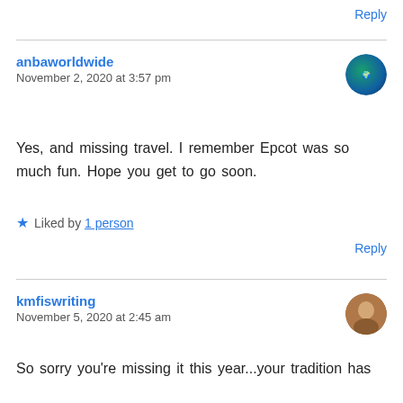Reply
anbaworldwide
November 2, 2020 at 3:57 pm
Yes, and missing travel. I remember Epcot was so much fun. Hope you get to go soon.
★ Liked by 1 person
Reply
kmfiswriting
November 5, 2020 at 2:45 am
So sorry you're missing it this year...your tradition has